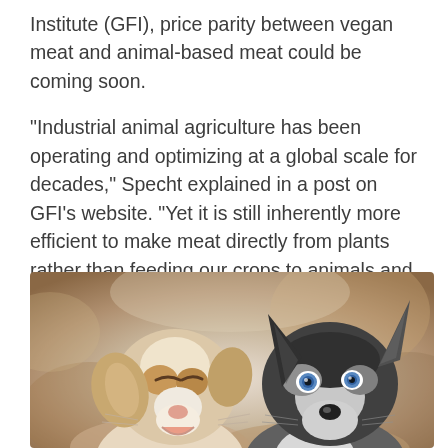Institute (GFI), price parity between vegan meat and animal-based meat could be coming soon.
“Industrial animal agriculture has been operating and optimizing at a global scale for decades,” Specht explained in a post on GFI’s website. “Yet it is still inherently more efficient to make meat directly from plants rather than feeding our crops to animals and then eating a part of the animal.”
[Figure (photo): Two puppies (Australian Shepherd dogs) being held up facing the camera, one light-colored with brown and white markings on the left with eyes closed appearing to smile, and one with black, white and grey coloring on the right with blue eyes, both looking forward against a warm blurred brown background.]